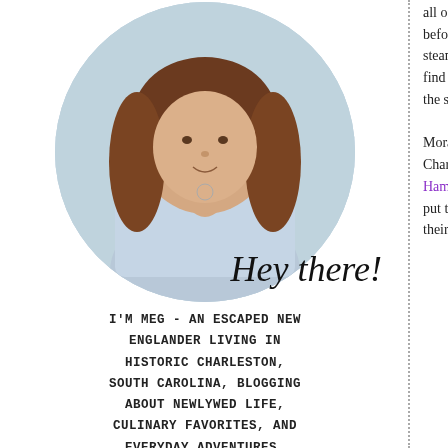[Figure (photo): Circular portrait photo of a young woman with long brown hair wearing an off-shoulder light blue striped top, standing in front of a light blue house exterior. Overlaid with cursive text 'Hey there!']
I'M MEG - AN ESCAPED NEW ENGLANDER LIVING IN HISTORIC CHARLESTON, SOUTH CAROLINA, BLOGGING ABOUT NEWLYWED LIFE, CULINARY FAVORITES, AND EVERYDAY ADVENTURES.
[Figure (infographic): Row of social media icons: Facebook, Twitter, Instagram, Pinterest, Bloglovin, Yelp]
Follow Along
all of the before b steamed find hotd the state
Moral of Charleston Hammers put toge their hom